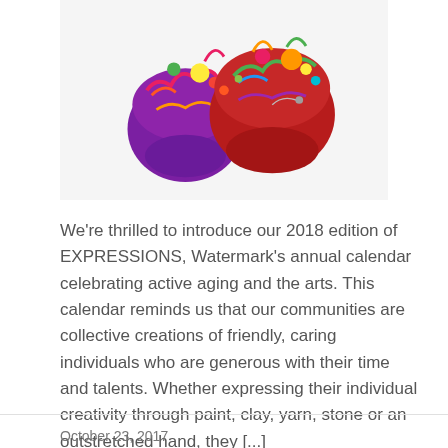[Figure (photo): Colorful felted wool craft objects (small bags or pouches) with vibrant multicolored yarn and textiles on a white background]
We're thrilled to introduce our 2018 edition of EXPRESSIONS, Watermark's annual calendar celebrating active aging and the arts. This calendar reminds us that our communities are collective creations of friendly, caring individuals who are generous with their time and talents. Whether expressing their individual creativity through paint, clay, yarn, stone or an outstretched hand, they [...]
» Read More
October 23, 2017